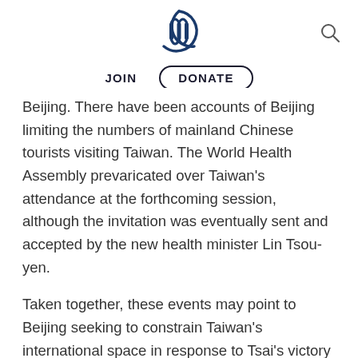AIIA logo, JOIN, DONATE navigation
Beijing. There have been accounts of Beijing limiting the numbers of mainland Chinese tourists visiting Taiwan. The World Health Assembly prevaricated over Taiwan’s attendance at the forthcoming session, although the invitation was eventually sent and accepted by the new health minister Lin Tsou-yen.
Taken together, these events may point to Beijing seeking to constrain Taiwan’s international space in response to Tsai’s victory and the DPP legislative majority. At the same time, on the Taiwan side, supporters of the new government have an interest